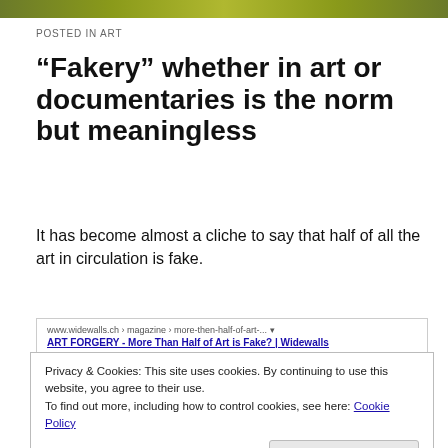POSTED IN ART
“Fakery” whether in art or documentaries is the norm but meaningless
It has become almost a cliche to say that half of all the art in circulation is fake.
[Figure (screenshot): Google search result snippet showing www.widewalls.ch › magazine › more-then-half-of-art-... and ART FORGERY - More Than Half of Art is Fake? | Widewalls]
Privacy & Cookies: This site uses cookies. By continuing to use this website, you agree to their use.
To find out more, including how to control cookies, see here: Cookie Policy
Close and accept
auction prices often overshadow faked sales data and forged art.... session, buyers failed to